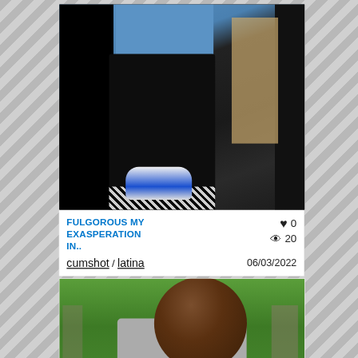[Figure (photo): Social media post card showing a person from behind wearing black leggings and blue shoes, with a blue top, standing on a patterned rug]
FULGOROUS MY EXASPERATION IN..
♥ 0
👁 20
cumshot / latina
06/03/2022
[Figure (photo): Social media post card showing a woman in a gray V-neck t-shirt outdoors on grass, with long brown hair]